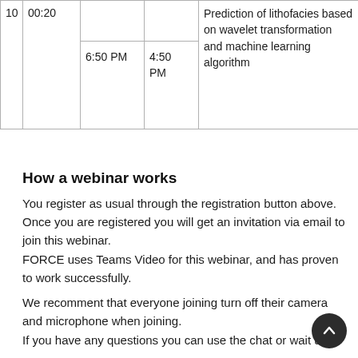| 10 | 00:20 |  |  | Prediction of lithofacies based on wavelet transformation and machine learning algorithm |
|  |  | 6:50 PM | 4:50 PM |  |
How a webinar works
You register as usual through the registration button above. Once you are registered you will get an invitation via email to join this webinar.
FORCE uses Teams Video for this webinar, and has proven to work successfully.

We recomment that everyone joining turn off their camera and microphone when joining.
If you have any questions you can use the chat or wait unti